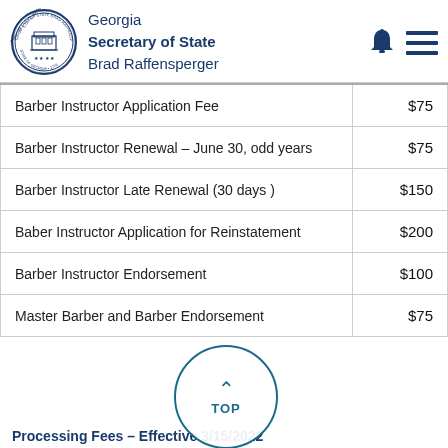Georgia Secretary of State Brad Raffensperger
| Fee Type | Amount |
| --- | --- |
| Barber Instructor Application Fee | $75 |
| Barber Instructor Renewal – June 30, odd years | $75 |
| Barber Instructor Late Renewal (30 days ) | $150 |
| Baber Instructor Application for Reinstatement | $200 |
| Barber Instructor Endorsement | $100 |
| Master Barber and Barber Endorsement | $75 |
Processing Fees – Effective 3/15/2022